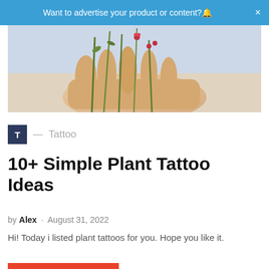Want to advertise your product or content? ×
[Figure (photo): A hand holding plant stems with small red flowers against a light background, viewed from above.]
T — Tattoo
10+ Simple Plant Tattoo Ideas
by Alex · August 31, 2022
Hi! Today i listed plant tattoos for you. Hope you like it.
Read More